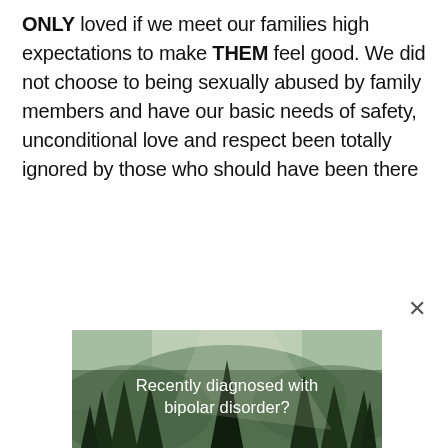ONLY loved if we meet our families high expectations to make THEM feel good. We did not choose to being sexually abused by family members and have our basic needs of safety, unconditional love and respect been totally ignored by those who should have been there
[Figure (photo): Forest nature scene with river and pine trees, overlaid with advertisement text: 'Recently diagnosed with bipolar disorder? DOWNLOAD OUR FREE EBOOK NOW.' with a close (X) button]
advertisement